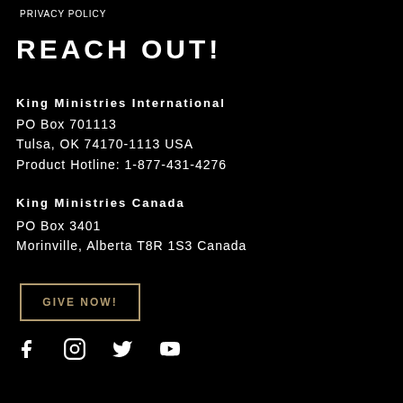PRIVACY POLICY
REACH OUT!
King Ministries International
PO Box 701113
Tulsa, OK 74170-1113 USA
Product Hotline: 1-877-431-4276
King Ministries Canada
PO Box 3401
Morinville, Alberta T8R 1S3 Canada
GIVE NOW!
[Figure (other): Social media icons: Facebook, Instagram, Twitter, YouTube]